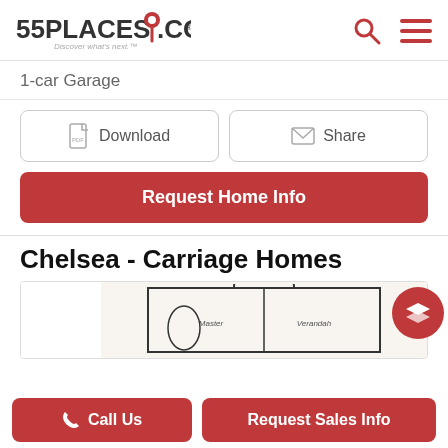55PLACES.COM — Discover what's next.™
1-car Garage
Download
Share
Request Home Info
Chelsea - Carriage Homes
[Figure (other): Partial floor plan showing Master and Verandah rooms]
Call Us
Request Sales Info